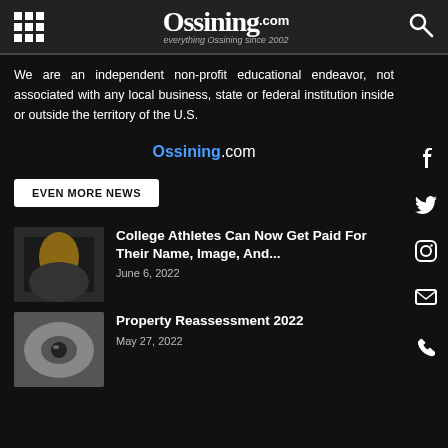Ossining.com
We are an independent non-profit educational endeavor, not associated with any local business, state or federal institution inside or outside the territory of the U.S.
Ossining.com
EVEN MORE NEWS
College Athletes Can Now Get Paid For Their Name, Image, And...
June 6, 2022
Property Reassessment 2022
May 27, 2022